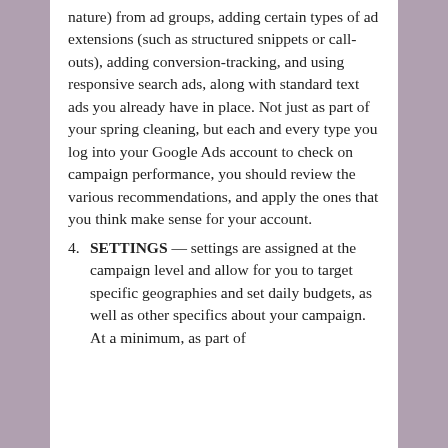nature) from ad groups, adding certain types of ad extensions (such as structured snippets or call-outs), adding conversion-tracking, and using responsive search ads, along with standard text ads you already have in place. Not just as part of your spring cleaning, but each and every type you log into your Google Ads account to check on campaign performance, you should review the various recommendations, and apply the ones that you think make sense for your account.
4. SETTINGS — settings are assigned at the campaign level and allow for you to target specific geographies and set daily budgets, as well as other specifics about your campaign. At a minimum, as part of